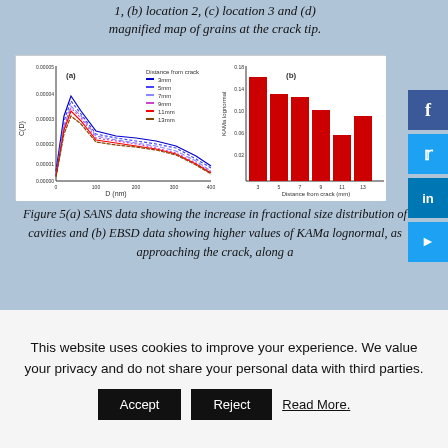1, (b) location 2, (c) location 3 and (d) magnified map of grains at the crack tip.
[Figure (continuous-plot): Figure 5(a): SANS data line plot showing fractional size distribution of cavities (C(D)) vs D (nm) for multiple distances from crack (3mm, 5mm, 7mm, 9mm, 11mm, 13mm). Multiple colored curves peaking near the left side and decaying to the right.]
[Figure (bar-chart): Figure 5(b): KAMa lognormal vs Distance from crack]
Figure 5(a) SANS data showing the increase in fractional size distribution of cavities and (b) EBSD data showing higher values of KAMa lognormal, as approaching the crack, along a
This website uses cookies to improve your experience. We value your privacy and do not share your personal data with third parties.